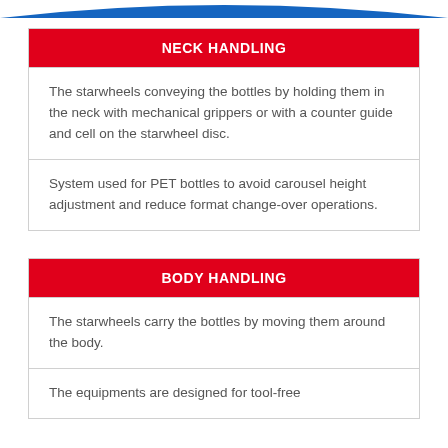NECK HANDLING
The starwheels conveying the bottles by holding them in the neck with mechanical grippers or with a counter guide and cell on the starwheel disc.
System used for PET bottles to avoid carousel height adjustment and reduce format change-over operations.
BODY HANDLING
The starwheels carry the bottles by moving them around the body.
The equipments are designed for tool-free